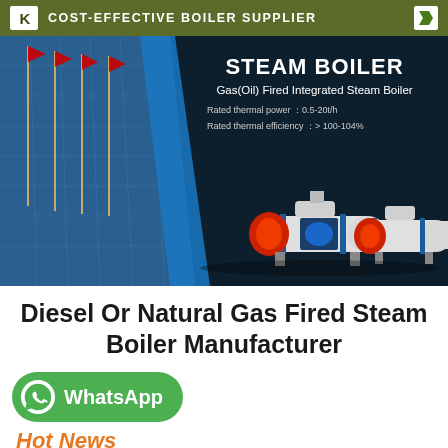COST-EFFECTIVE BOILER SUPPLIER
[Figure (photo): Dark navy background banner showing steam boiler products. Left side: building with blue glass facade and flagpoles. Right/center: 'STEAM BOILER' heading, subtitle 'Gas(Oil) Fired Integrated Steam Boiler', specs 'Rated thermal power: 0.5-20t/h', 'Rated thermal efficiency: > 100-104%'. Three horizontal cylindrical gas/oil fired integrated steam boilers in white and blue colors with red burner flames visible.]
Diesel Or Natural Gas Fired Steam Boiler Manufacturer
[Figure (logo): WhatsApp button — green rounded rectangle with phone/chat icon and 'WhatsApp' text in white]
Hot News